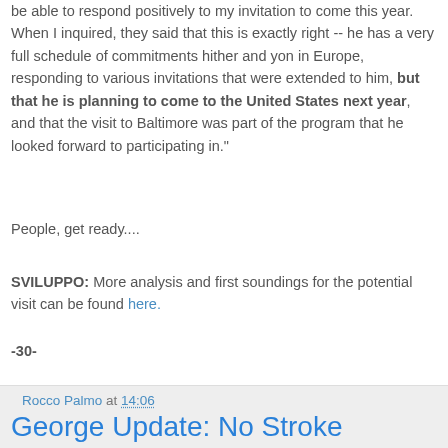be able to respond positively to my invitation to come this year. When I inquired, they said that this is exactly right -- he has a very full schedule of commitments hither and yon in Europe, responding to various invitations that were extended to him, but that he is planning to come to the United States next year, and that the visit to Baltimore was part of the program that he looked forward to participating in."
People, get ready....
SVILUPPO: More analysis and first soundings for the potential visit can be found here.
-30-
Rocco Palmo at 14:06
George Update: No Stroke